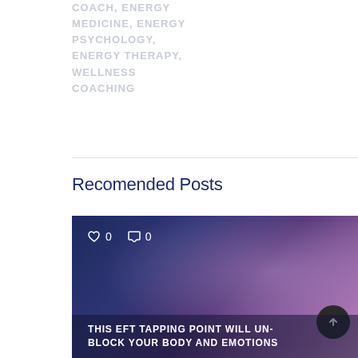COACH, ENERGY MEDICINE, ENERGY PSYCHOLOGY, ENERGY THERAPY, WELLNESS COACHING
Recomended Posts
[Figure (photo): Blog post card with dark blue-purple gradient background, a radial light glow on the right side, like/comment counters (0 each) at the top left, and a partially visible title at the bottom: THIS EFT TAPPING POINT WILL UN-BLOCK YOUR BODY AND EMOTIONS]
THIS EFT TAPPING POINT WILL UN-BLOCK YOUR BODY AND EMOTIONS